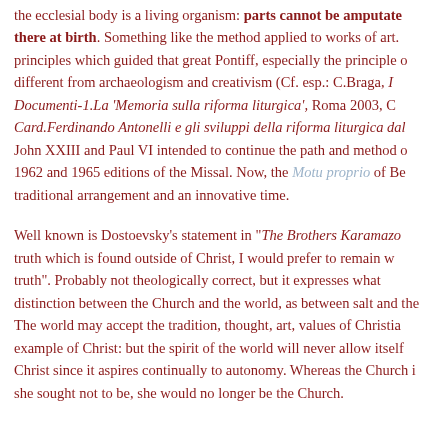the ecclesial body is a living organism: parts cannot be amputated there at birth. Something like the method applied to works of art. principles which guided that great Pontiff, especially the principle of different from archaeologism and creativism (Cf. esp.: C.Braga, Documenti-1.La 'Memoria sulla riforma liturgica', Roma 2003, C Card.Ferdinando Antonelli e gli sviluppi della riforma liturgica dal John XXIII and Paul VI intended to continue the path and method o 1962 and 1965 editions of the Missal. Now, the Motu proprio of Be traditional arrangement and an innovative time.
Well known is Dostoevsky's statement in "The Brothers Karamazo truth which is found outside of Christ, I would prefer to remain w truth". Probably not theologically correct, but it expresses what distinction between the Church and the world, as between salt and the The world may accept the tradition, thought, art, values of Christian example of Christ: but the spirit of the world will never allow itself Christ since it aspires continually to autonomy. Whereas the Church i she sought not to be, she would no longer be the Church.